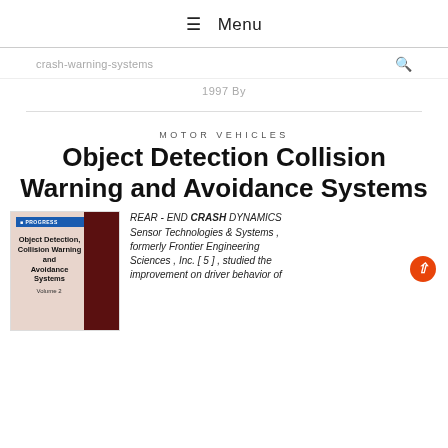☰ Menu
crash-warning-systems
1997 By
MOTOR VEHICLES
Object Detection Collision Warning and Avoidance Systems
[Figure (illustration): Book cover of 'Object Detection, Collision Warning and Avoidance Systems Volume 2' with red and beige design]
REAR - END CRASH DYNAMICS Sensor Technologies & Systems , formerly Frontier Engineering Sciences , Inc. [ 5 ] , studied the improvement on driver behavior of